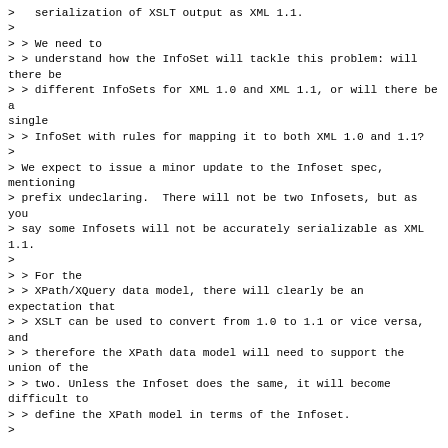>   serialization of XSLT output as XML 1.1.
>
> > We need to
> > understand how the InfoSet will tackle this problem: will there be
> > different InfoSets for XML 1.0 and XML 1.1, or will there be a single
> > InfoSet with rules for mapping it to both XML 1.0 and 1.1?
>
> We expect to issue a minor update to the Infoset spec, mentioning
> prefix undeclaring.  There will not be two Infosets, but as you
> say some Infosets will not be accurately serializable as XML 1.1.
>
> > For the
> > XPath/XQuery data model, there will clearly be an expectation that
> > XSLT can be used to convert from 1.0 to 1.1 or vice versa, and
> > therefore the XPath data model will need to support the union of the
> > two. Unless the Infoset does the same, it will become difficult to
> > define the XPath model in terms of the Infoset.
>